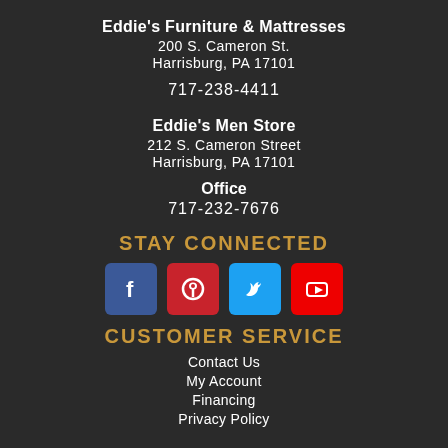Eddie's Furniture & Mattresses
200 S. Cameron St.
Harrisburg, PA 17101
717-238-4411
Eddie's Men Store
212 S. Cameron Street
Harrisburg, PA 17101
Office
717-232-7676
STAY CONNECTED
[Figure (infographic): Four social media icon buttons: Facebook (blue), Pinterest (red), Twitter (light blue), YouTube (red)]
CUSTOMER SERVICE
Contact Us
My Account
Financing
Privacy Policy